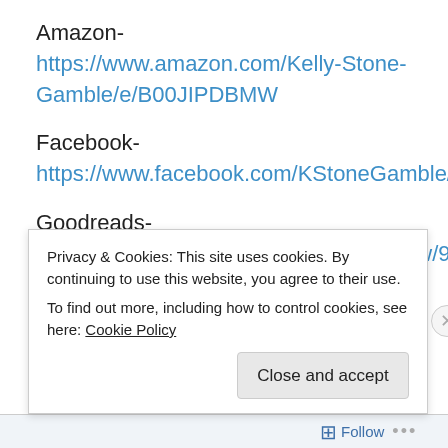Amazon- https://www.amazon.com/Kelly-Stone-Gamble/e/B00JIPDBMW
Facebook- https://www.facebook.com/KStoneGamble/
Goodreads- https://www.goodreads.com/author/show/9230926.Kelly_Stone_Gamble
Twitter- https://twitter.com/KellySGamble
Privacy & Cookies: This site uses cookies. By continuing to use this website, you agree to their use.
To find out more, including how to control cookies, see here: Cookie Policy
Close and accept
Follow